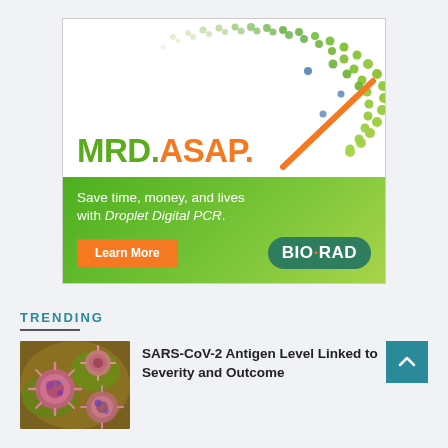[Figure (illustration): Bio-Rad advertisement: MRD.ASAP. headline with green dot pattern and orange needle/gauge graphic. Green banner below reads 'Save time, money, and lives with Droplet Digital PCR.' with an orange Learn More button and Bio-Rad logo.]
TRENDING
[Figure (photo): Microscopy image of SARS-CoV-2 virus particles, colorized in orange/pink/purple against a yellow-green background.]
SARS-CoV-2 Antigen Level Linked to Severity and Outcome